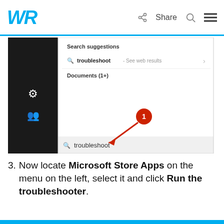WR | Share
[Figure (screenshot): Windows search box showing 'troubleshoot' typed in the search field, with search suggestions panel showing 'troubleshoot - See web results' and 'Documents (1+)'. A red circle with number 1 and arrow points to the search box at the bottom. A dark sidebar with settings and user icons is visible on the left.]
Now locate Microsoft Store Apps on the menu on the left, select it and click Run the troubleshooter.